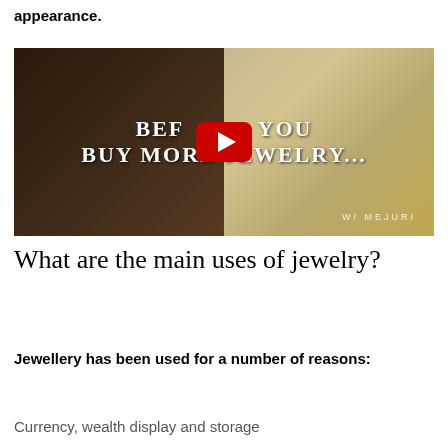appearance.
[Figure (screenshot): YouTube video thumbnail showing a woman wearing jewelry on the left side and gold jewelry items on the right side. Text overlay reads 'BEFORE YOU BUY MORE JEWELRY...' with a YouTube play button in the center. Bottom right shows 'W/ MEJURI' watermark.]
What are the main uses of jewelry?
Jewellery has been used for a number of reasons:
Currency, wealth display and storage